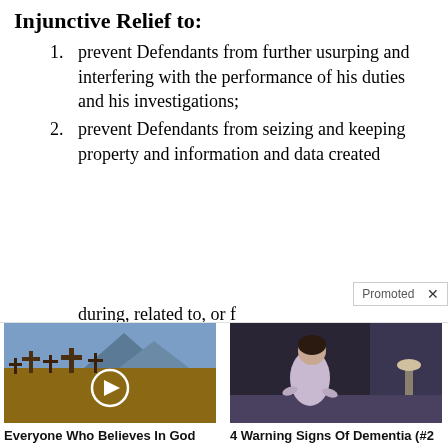Injunctive Relief to:
prevent Defendants from further usurping and interfering with the performance of his duties and his investigations;
prevent Defendants from seizing and keeping property and information and data created during, related to, or f
[Figure (screenshot): Promoted advertisement overlay with X close button]
[Figure (photo): Cemetery with crosses, video thumbnail with play button]
Everyone Who Believes In God Should Watch This. It Will Blow Your Mind
2,861,998
[Figure (photo): Elderly person sitting on bed]
4 Warning Signs Of Dementia (#2 Is Scary)
51,859